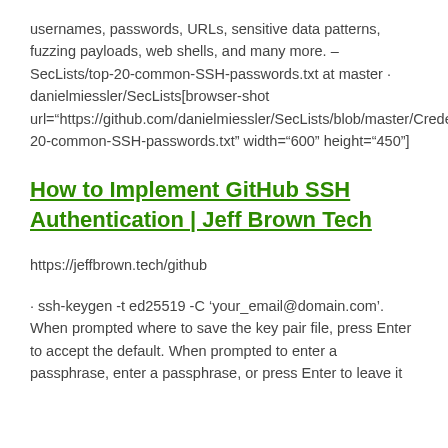usernames, passwords, URLs, sensitive data patterns, fuzzing payloads, web shells, and many more. – SecLists/top-20-common-SSH-passwords.txt at master · danielmiessler/SecLists[browser-shot url="https://github.com/danielmiessler/SecLists/blob/master/Credentials/top-20-common-SSH-passwords.txt" width="600" height="450"]
How to Implement GitHub SSH Authentication | Jeff Brown Tech
https://jeffbrown.tech/github
· ssh-keygen -t ed25519 -C 'your_email@domain.com'. When prompted where to save the key pair file, press Enter to accept the default. When prompted to enter a passphrase, enter a passphrase, or press Enter to leave it